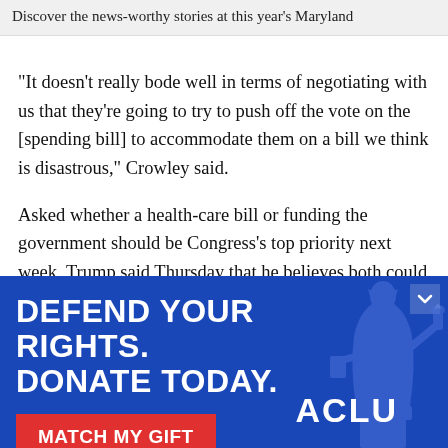Discover the news-worthy stories at this year's Maryland
“It doesn’t really bode well in terms of negotiating with us that they’re going to try to push off the vote on the [spending bill] to accommodate them on a bill we think is disastrous,” Crowley said.
Asked whether a health-care bill or funding the government should be Congress’s top priority next week, Trump said Thursday that he believes both could get done.
[Figure (infographic): ACLU advertisement banner with blue background. Text: DEFEND YOUR RIGHTS. DONATE TODAY. with a red MATCH MY GIFT button and ACLU logo. Statue of Liberty silhouette on the right.]